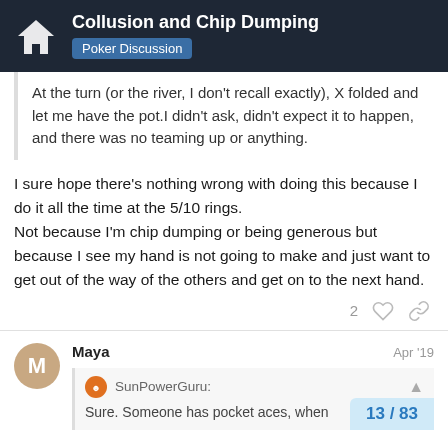Collusion and Chip Dumping — Poker Discussion
At the turn (or the river, I don't recall exactly), X folded and let me have the pot.I didn't ask, didn't expect it to happen, and there was no teaming up or anything.
I sure hope there's nothing wrong with doing this because I do it all the time at the 5/10 rings.
Not because I'm chip dumping or being generous but because I see my hand is not going to make and just want to get out of the way of the others and get on to the next hand.
2
Maya  Apr '19
SunPowerGuru:
Sure. Someone has pocket aces, when
13 / 83